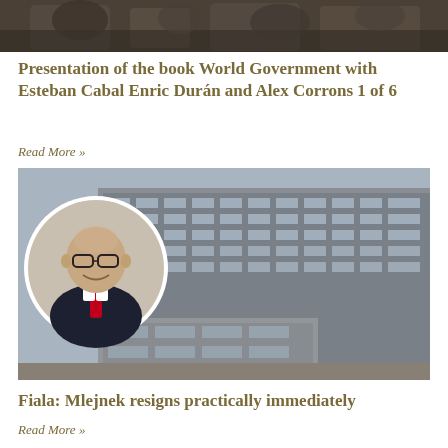[Figure (photo): Partial view of people / audience from above, cropped at top of page]
Presentation of the book World Government with Esteban Cabal Enric Durán and Alex Corrons 1 of 6
Read More »
[Figure (photo): A bald man in a dark suit with a red tie smiling with arms crossed in a circular portrait inset, overlaid on a photo of a large modern office building]
Fiala: Mlejnek resigns practically immediately
Read More »